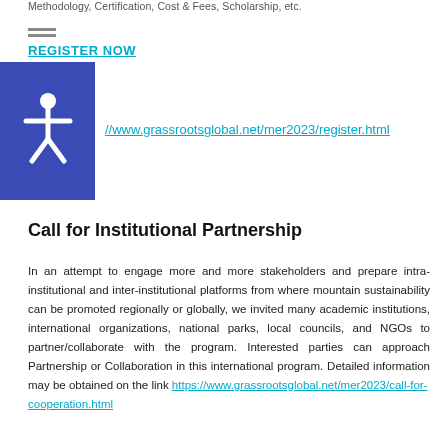Methodology, Certification, Cost & Fees, Scholarship, etc.
REGISTER NOW
//www.grassrootsglobal.net/mer2023/register.html
[Figure (illustration): Blue square with white accessibility icon (person with arms outstretched)]
Call for Institutional Partnership
In an attempt to engage more and more stakeholders and prepare intra-institutional and inter-institutional platforms from where mountain sustainability can be promoted regionally or globally, we invited many academic institutions, international organizations, national parks, local councils, and NGOs to partner/collaborate with the program. Interested parties can approach Partnership or Collaboration in this international program. Detailed information may be obtained on the link https://www.grassrootsglobal.net/mer2023/call-for-cooperation.html